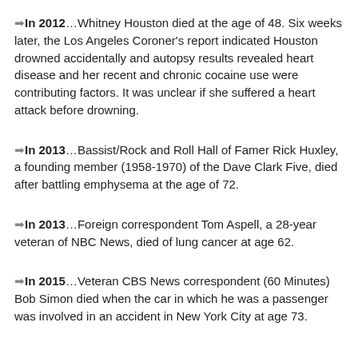➡In 2012…Whitney Houston died at the age of 48. Six weeks later, the Los Angeles Coroner's report indicated Houston drowned accidentally and autopsy results revealed heart disease and her recent and chronic cocaine use were contributing factors. It was unclear if she suffered a heart attack before drowning.
➡In 2013…Bassist/Rock and Roll Hall of Famer Rick Huxley, a founding member (1958-1970) of the Dave Clark Five, died after battling emphysema at the age of 72.
➡In 2013…Foreign correspondent Tom Aspell, a 28-year veteran of NBC News, died of lung cancer at age 62.
➡In 2015…Veteran CBS News correspondent (60 Minutes) Bob Simon died when the car in which he was a passenger was involved in an accident in New York City at age 73.